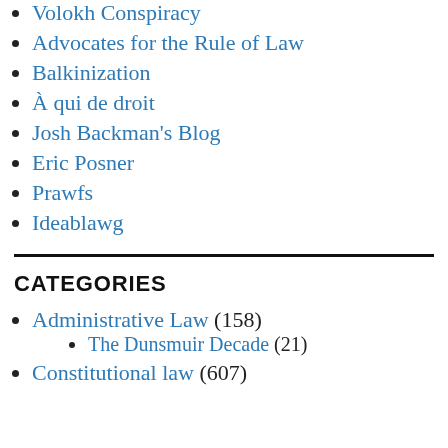Volokh Conspiracy
Advocates for the Rule of Law
Balkinization
À qui de droit
Josh Backman's Blog
Eric Posner
Prawfs
Ideablawg
CATEGORIES
Administrative Law (158)
The Dunsmuir Decade (21)
Constitutional law (607)